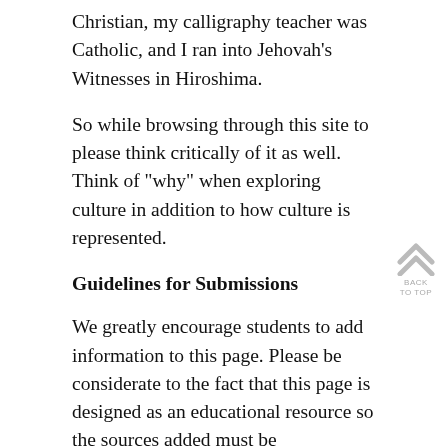Christian, my calligraphy teacher was Catholic, and I ran into Jehovah’s Witnesses in Hiroshima.
So while browsing through this site to please think critically of it as well. Think of “why” when exploring culture in addition to how culture is represented.
Guidelines for Submissions
We greatly encourage students to add information to this page. Please be considerate to the fact that this page is designed as an educational resource so the sources added must be informational. If they are not informational then they will be removed.